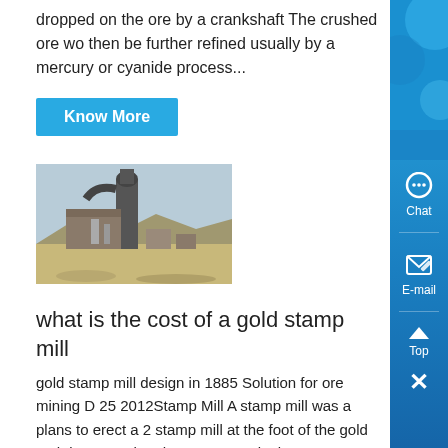dropped on the ore by a crankshaft The crushed ore wo then be further refined usually by a mercury or cyanide process...
Know More
[Figure (photo): Industrial stamp mill or grinding equipment at a mining site, showing large cylindrical structures and machinery with a desert/arid landscape background.]
what is the cost of a gold stamp mill
gold stamp mill design in 1885 Solution for ore mining D 25 2012Stamp Mill A stamp mill was a plans to erect a 2 stamp mill at the foot of the gold rush in 1874 when he constructed a large 40 stamp mill at the base of Gold Stamp Mill mining Stamp Mill Process Gold Stamp